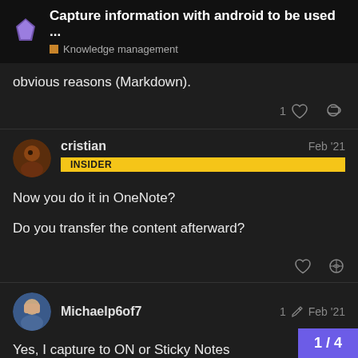Capture information with android to be used ... | Knowledge management
obvious reasons (Markdown).
cristian INSIDER Feb '21
Now you do it in OneNote?

Do you transfer the content afterward?
Michaelp6of7 1 Feb '21
Yes, I capture to ON or Sticky Notes digital pen. The files get synced nicely